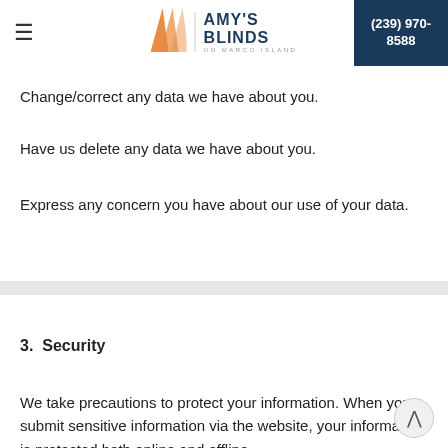Amy's Blinds on Marco Island | (239) 970-8588
Change/correct any data we have about you.
Have us delete any data we have about you.
Express any concern you have about our use of your data.
3.  Security
We take precautions to protect your information. When you submit sensitive information via the website, your information is protected both online and offline.
Wherever we collect personal information that information is encrypted and transmitted to us in a secure way. You can